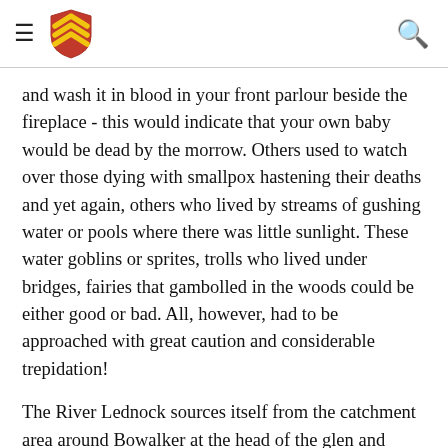[hamburger menu] [shield logo] [search icon]
and wash it in blood in your front parlour beside the fireplace - this would indicate that your own baby would be dead by the morrow. Others used to watch over those dying with smallpox hastening their deaths and yet again, others who lived by streams of gushing water or pools where there was little sunlight. These water goblins or sprites, trolls who lived under bridges, fairies that gambolled in the woods could be either good or bad. All, however, had to be approached with great caution and considerable trepidation!
The River Lednock sources itself from the catchment area around Bowalker at the head of the glen and many of its feeder streams met just before the first major waterfall at Spout Rolla. In spate it was a sight to behold, but at all times a place where much caution was exercised, and to be avoided. It was the home to a